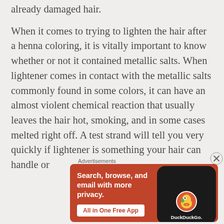already damaged hair.
When it comes to trying to lighten the hair after a henna coloring, it is vitally important to know whether or not it contained metallic salts. When lightener comes in contact with the metallic salts commonly found in some colors, it can have an almost violent chemical reaction that usually leaves the hair hot, smoking, and in some cases melted right off. A test strand will tell you very quickly if lightener is something your hair can handle or
Advertisements
[Figure (infographic): DuckDuckGo advertisement: orange background with white bold text 'Search, browse, and email with more privacy.' and a white button labeled 'All in One Free App', alongside a dark smartphone showing the DuckDuckGo duck logo and the text 'DuckDuckGo.']